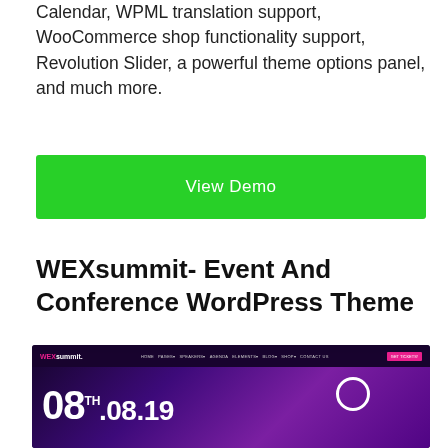Calendar, WPML translation support, WooCommerce shop functionality support, Revolution Slider, a powerful theme options panel, and much more.
[Figure (screenshot): Green 'View Demo' button]
WEXsummit- Event And Conference WordPress Theme
[Figure (screenshot): Screenshot of WEXsummit WordPress theme showing a dark event website with navigation bar, hero section displaying '08.TH 08.19', and bottom section with '[HACKERS] WEEK #BUSINESS + 09:30' text and a 'Register Now' button on a purple/dark background with stage lighting effects.]